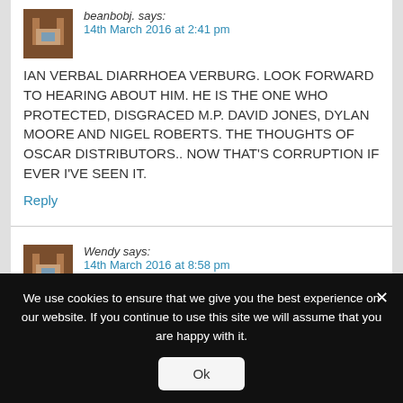beanbobj. says:
14th March 2016 at 2:41 pm
IAN VERBAL DIARRHOEA VERBURG. LOOK FORWARD TO HEARING ABOUT HIM. HE IS THE ONE WHO PROTECTED, DISGRACED M.P. DAVID JONES, DYLAN MOORE AND NIGEL ROBERTS. THE THOUGHTS OF OSCAR DISTRIBUTORS.. NOW THAT'S CORRUPTION IF EVER I'VE SEEN IT.
Reply
Wendy says:
14th March 2016 at 8:58 pm
We use cookies to ensure that we give you the best experience on our website. If you continue to use this site we will assume that you are happy with it.
Ok